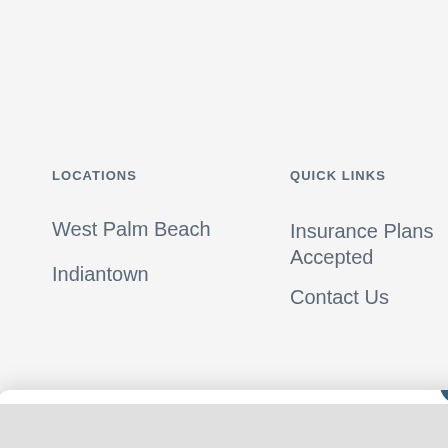LOCATIONS
West Palm Beach
Indiantown
QUICK LINKS
Insurance Plans Accepted
Contact Us
Stuart Location Now Open!
ere For More Info!
Click Here For More Info!